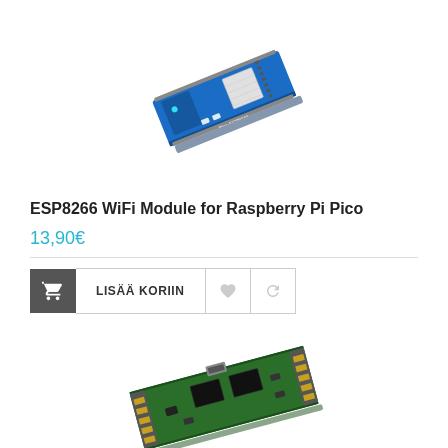[Figure (photo): ESP8266 WiFi Module for Raspberry Pi Pico - blue PCB board shown at an angle]
ESP8266 WiFi Module for Raspberry Pi Pico
13,90€
[Figure (photo): A green circuit board / expansion module shown at the bottom of the page]